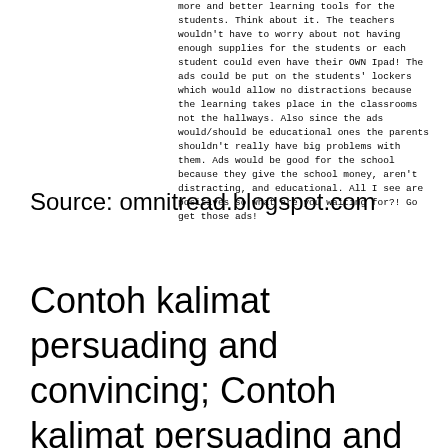more and better learning tools for the students. Think about it. The teachers wouldn't have to worry about not having enough supplies for the students or each student could even have their OWN Ipad! The ads could be put on the students' lockers which would allow no distractions because the learning takes place in the classrooms not the hallways. Also since the ads would/should be educational ones the parents shouldn't really have big problems with them. Ads would be good for the school because they give the school money, aren't distracting, and educational. All I see are positives so what are you waiting for?! Go get those ads!
Source: omnitread.blogspot.com
Contoh kalimat persuading and convincing; Contoh kalimat persuading and convincing; Persuading is an expression to persuade someone. Soal sejarah ukk kelas x kebudayaan dongson sa huyn It is obligatory for the people to participate in